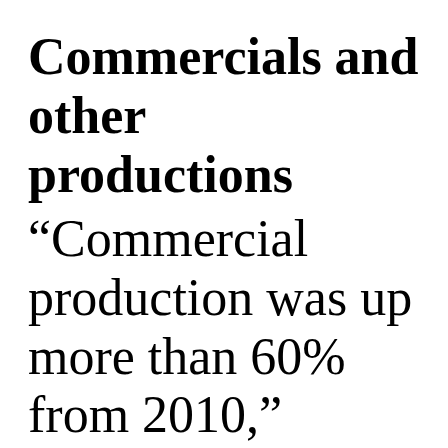Commercials and other productions
“Commercial production was up more than 60% from 2010,” Moskal noted, “with a total 124 spots